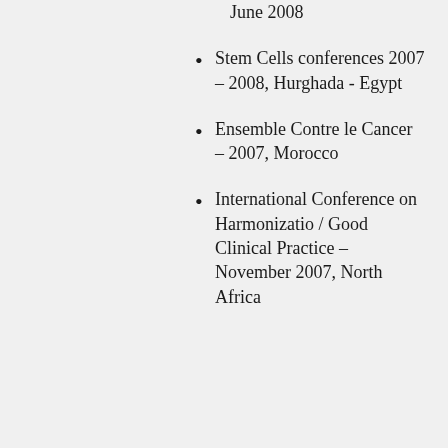June 2008
Stem Cells conferences 2007 – 2008, Hurghada - Egypt
Ensemble Contre le Cancer – 2007, Morocco
International Conference on Harmonization / Good Clinical Practice – November 2007, North Africa